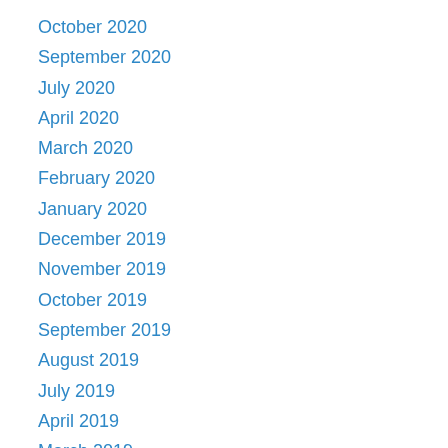October 2020
September 2020
July 2020
April 2020
March 2020
February 2020
January 2020
December 2019
November 2019
October 2019
September 2019
August 2019
July 2019
April 2019
March 2019
January 2019
December 2018
November 2018
October 2018
September 2018